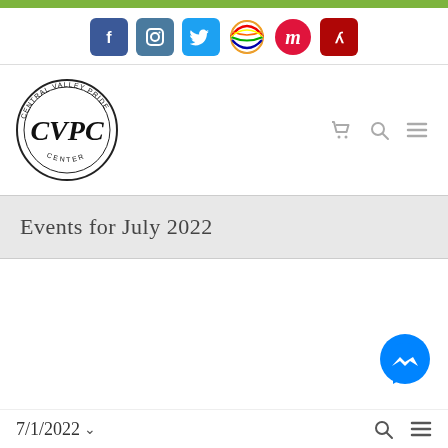[Figure (screenshot): Social media icon bar with Facebook, Instagram, Twitter, a rainbow/globe icon, Meetup icon, and Yelp icon]
[Figure (logo): Central Valley Pride Center circular logo with CVPC initials]
Events for July 2022
7/1/2022